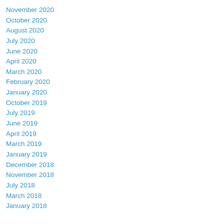November 2020
October 2020
August 2020
July 2020
June 2020
April 2020
March 2020
February 2020
January 2020
October 2019
July 2019
June 2019
April 2019
March 2019
January 2019
December 2018
November 2018
July 2018
March 2018
January 2018